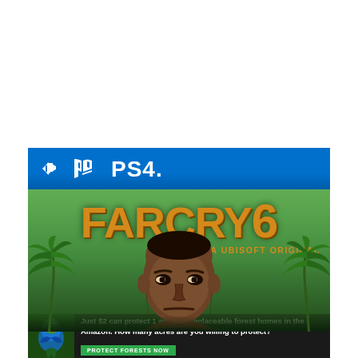[Figure (illustration): Far Cry 6 PS4 game cover showing the PS4 logo on a blue bar at top, Far Cry 6 title in large orange distressed font, subtitle 'A Ubisoft Original', tropical palm trees, and the villain character's face (Giancarlo Esposito) looking menacingly toward the viewer, set against a green tropical sky background.]
[Figure (infographic): Advertisement banner with dark background showing a parrot/bird image on the left, text 'Just $2 can protect 1 acre of irreplaceable forest homes in the Amazon. How many acres are you willing to protect?' and a green 'PROTECT FORESTS NOW' button.]